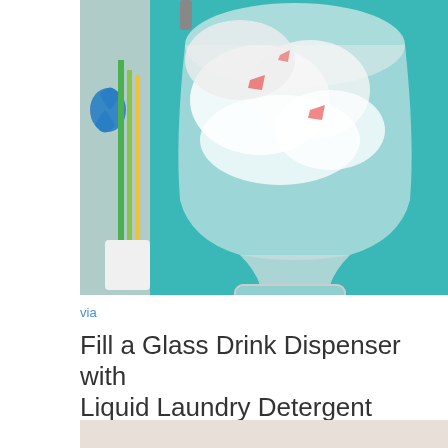[Figure (photo): A large clear plastic bottle mounted upside down on a teal/turquoise wall, filled with crumpled plastic bags. The bottle has a dispenser spout at the bottom. To the left are scissors and green/yellow sticks in a white holder.]
via
Fill a Glass Drink Dispenser with Liquid Laundry Detergent
[Figure (photo): Bottom portion of a second photo showing metal bowls or containers on a light-colored surface with some green plant material visible on the right side.]